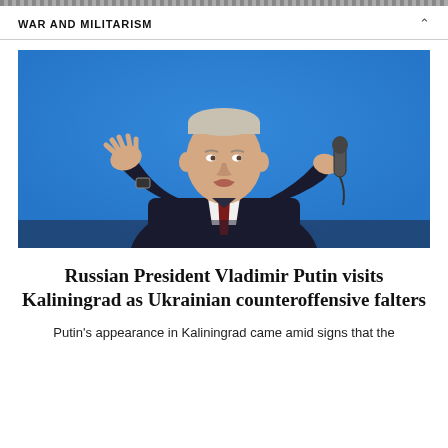WAR AND MILITARISM
[Figure (photo): Russian President Vladimir Putin seated, wearing a dark suit and dark red tie, speaking into a microphone and gesturing with his right hand, against a bright blue background.]
Russian President Vladimir Putin visits Kaliningrad as Ukrainian counteroffensive falters
Putin's appearance in Kaliningrad came amid signs that the